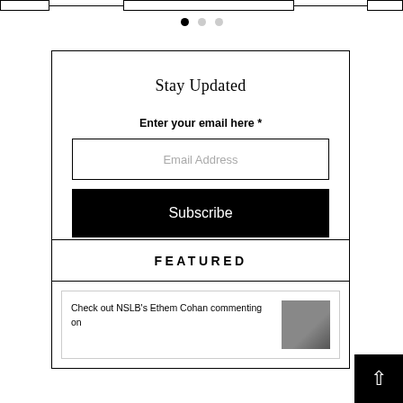[Figure (screenshot): Pagination dots: one filled black dot and two gray dots indicating a carousel position]
Stay Updated
Enter your email here *
Email Address
Subscribe
FEATURED
Check out NSLB's Ethem Cohan commenting on